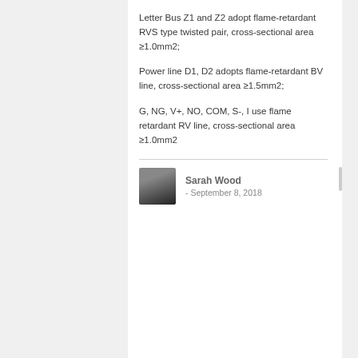Letter Bus Z1 and Z2 adopt flame-retardant RVS type twisted pair, cross-sectional area ≥1.0mm2;
Power line D1, D2 adopts flame-retardant BV line, cross-sectional area ≥1.5mm2;
G, NG, V+, NO, COM, S-, I use flame retardant RV line, cross-sectional area ≥1.0mm2
Sarah Wood - September 8, 2018